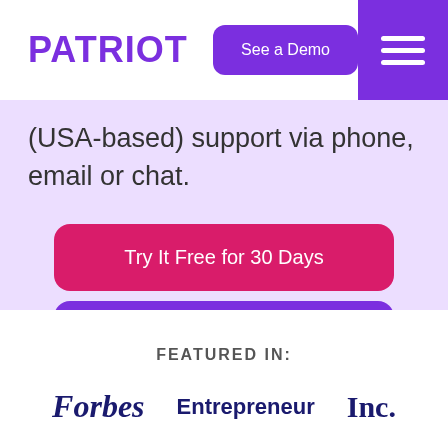PATRIOT
(USA-based) support via phone, email or chat.
Try It Free for 30 Days
See a Demo
FEATURED IN:
[Figure (logo): Forbes logo in dark navy serif italic font]
[Figure (logo): Entrepreneur logo in dark navy sans-serif font]
[Figure (logo): Inc. logo in dark navy bold serif font]